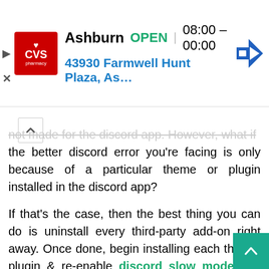[Figure (other): CVS Pharmacy advertisement banner showing Ashburn location, OPEN, hours 08:00-00:00, address 43930 Farmwell Hunt Plaza, As..., with CVS logo and navigation arrow icons]
not made for the discord app. However, what if the better discord error you're facing is only because of a particular theme or plugin installed in the discord app?
If that's the case, then the best thing you can do is uninstall every third-party add-on right away. Once done, begin installing each theme, plugin & re-enable discord slow mode and streamer mode add-ons one by one to verify which one has caused the particular error you're facing.
Remove the “bdstorage.json” Fi
In the better discord installation folder, there's a file...